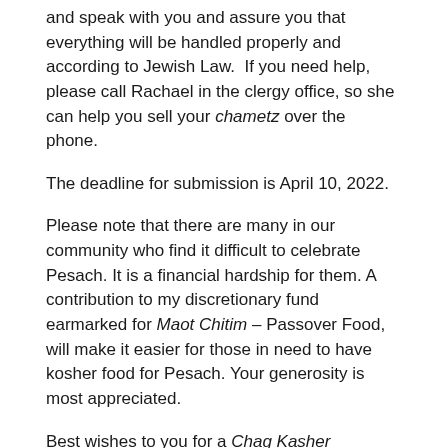and speak with you and assure you that everything will be handled properly and according to Jewish Law. If you need help, please call Rachael in the clergy office, so she can help you sell your chametz over the phone.
The deadline for submission is April 10, 2022.
Please note that there are many in our community who find it difficult to celebrate Pesach. It is a financial hardship for them. A contribution to my discretionary fund earmarked for Maot Chitim – Passover Food, will make it easier for those in need to have kosher food for Pesach. Your generosity is most appreciated.
Best wishes to you for a Chag Kasher v'Sameach, a joyful and kosher Pesach.
Warmly,
Rabbi Chaitovsky